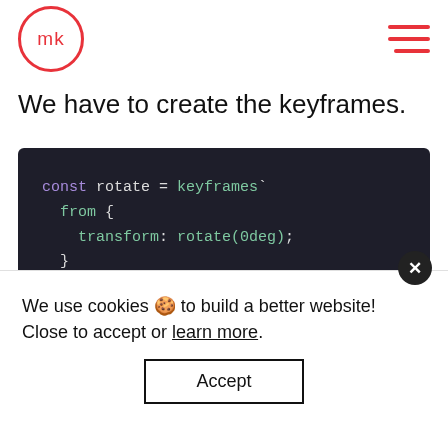mk
We have to create the keyframes.
[Figure (screenshot): Dark-themed code block showing JavaScript/CSS keyframes code: const rotate = keyframes` from { transform: rotate(0deg); } `]
We use cookies 🍪 to build a better website! Close to accept or learn more.
Accept